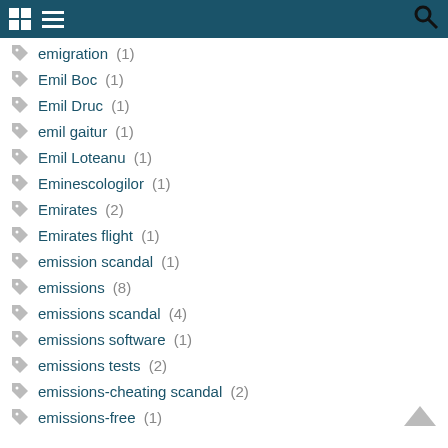emigration (1)
Emil Boc (1)
Emil Druc (1)
emil gaitur (1)
Emil Loteanu (1)
Eminescologilor (1)
Emirates (2)
Emirates flight (1)
emission scandal (1)
emissions (8)
emissions scandal (4)
emissions software (1)
emissions tests (2)
emissions-cheating scandal (2)
emissions-free (1)